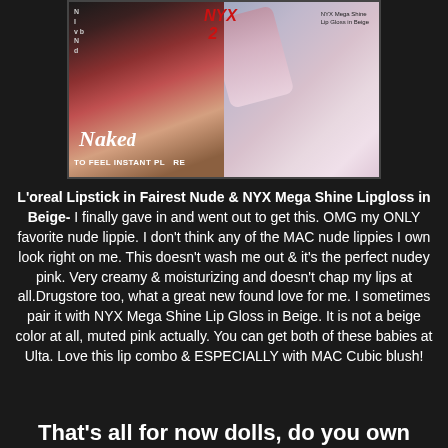[Figure (photo): Two side-by-side product photos: left shows L'Oreal Naked lipstick products with text 'TO FEEL INSTANT PL RE', right shows NYX Mega Shine Lip Gloss in Beige swatch on skin]
L'oreal Lipstick in Fairest Nude & NYX Mega Shine Lipgloss in Beige- I finally gave in and went out to get this. OMG my ONLY favorite nude lippie. I don't think any of the MAC nude lippies I own look right on me. This doesn't wash me out & it's the perfect nudey pink. Very creamy & moisturizing and doesn't chap my lips at all.Drugstore too, what a great new found love for me. I sometimes pair it with NYX Mega Shine Lip Gloss in Beige. It is not a beige color at all, muted pink actually. You can get both of these babies at Ulta. Love this lip combo & ESPECIALLY with MAC Cubic blush!
That's all for now dolls, do you own